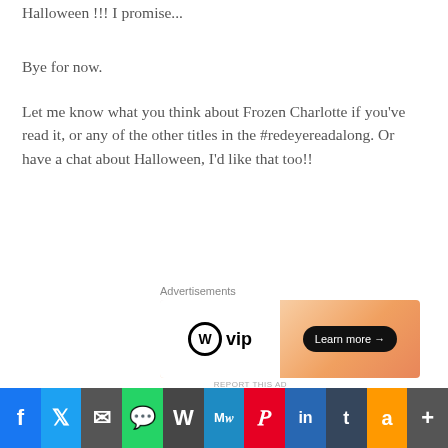Halloween !!! I promise...
Bye for now.
Let me know what you think about Frozen Charlotte if you've read it, or any of the other titles in the #redeyereadalong. Or have a chat about Halloween, I'd like that too!!
Advertisements
[Figure (screenshot): WordPress VIP advertisement banner with orange gradient background and Learn more button]
[Figure (illustration): Cartoon illustration of a person in a library with speech bubble saying RED EYE READATHON EEK!!!!]